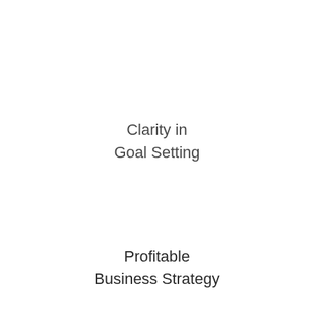Clarity in
Goal Setting
Profitable
Business Strategy